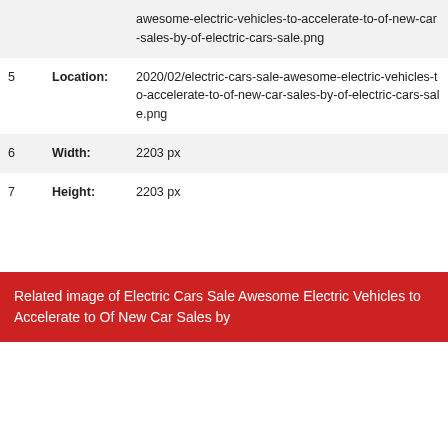| # | Field | Value |
| --- | --- | --- |
|  |  | awesome-electric-vehicles-to-accelerate-to-of-new-car-sales-by-of-electric-cars-sale.png |
| 5 | Location: | 2020/02/electric-cars-sale-awesome-electric-vehicles-to-accelerate-to-of-new-car-sales-by-of-electric-cars-sale.png |
| 6 | Width: | 2203 px |
| 7 | Height: | 2203 px |
Related image of Electric Cars Sale Awesome Electric Vehicles to Accelerate to Of New Car Sales by